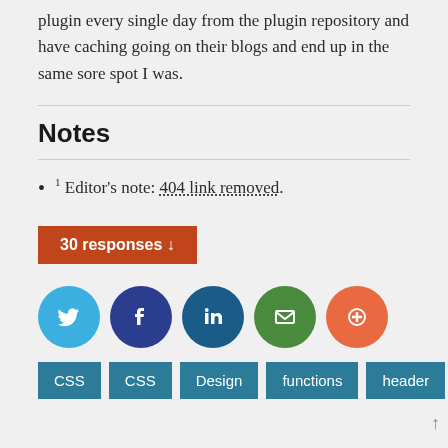plugin every single day from the plugin repository and have caching going on their blogs and end up in the same sore spot I was.
Notes
1 Editor's note: 404 link removed.
30 responses ↓
[Figure (infographic): Social sharing icons: Twitter (blue circle), Facebook (dark blue circle), LinkedIn (teal circle), Email (green circle), More/Plus (orange circle)]
CSS  CSS  Design  functions  header